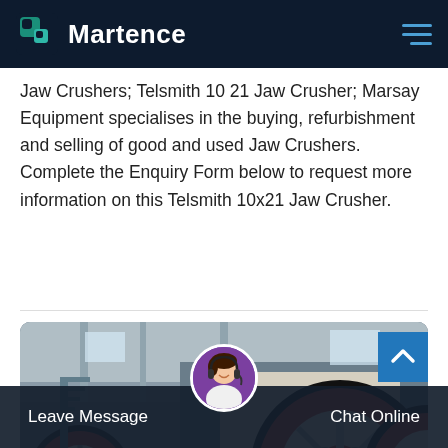Martence
Jaw Crushers; Telsmith 10 21 Jaw Crusher; Marsay Equipment specialises in the buying, refurbishment and selling of good and used Jaw Crushers. Complete the Enquiry Form below to request more information on this Telsmith 10x21 Jaw Crusher.
[Figure (photo): Photograph of industrial jaw crusher machinery showing large red and white flywheel/pulley assemblies in a factory warehouse setting]
Leave Message   Chat Online